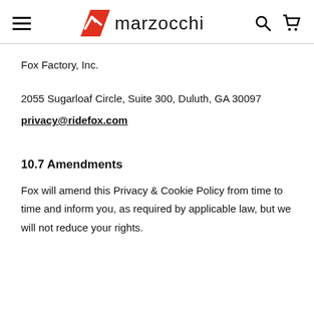marzocchi (logo with navigation icons)
Fox Factory, Inc.
2055 Sugarloaf Circle, Suite 300, Duluth, GA 30097
privacy@ridefox.com
10.7 Amendments
Fox will amend this Privacy & Cookie Policy from time to time and inform you, as required by applicable law, but we will not reduce your rights.